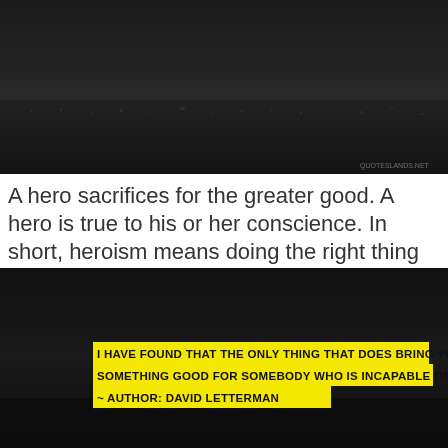[Figure (photo): Dark aerial or landscape photo with city/town visible below, dark sky/terrain, small watermark text 'QUOTESLANDS.NET' in lower right corner]
A hero sacrifices for the greater good. A hero is true to his or her conscience. In short, heroism means doing the right thing regardless of the consequences. Although any person could fit that description, very few do. Choose this day to be one of them. — Brandon Mull
[Figure (photo): Dark moody background image with yellow-highlighted quote text overlay reading: 'I HAVE FOUND THAT THE ONLY THING THAT DOES BRING YOU HAPPINESS IS DOING SOMETHING GOOD FOR SOMEBODY WHO IS INCAPABLE OF DOING IT FOR THEMSELVES. ~ AUTHOR: DAVID LETTERMAN']